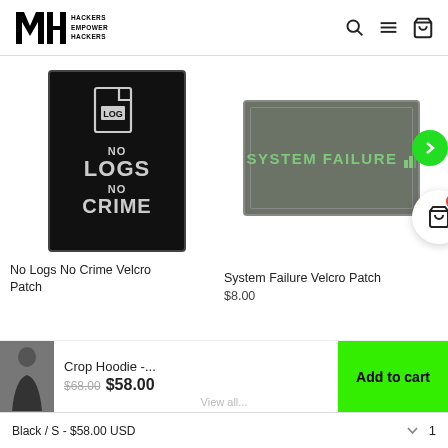MHT HACKERS EMPOWER HACKERS
[Figure (photo): No Logs No Crime velcro patch — black patch with white text: 'LOG', 'NO LOGS NO CRIME' and a file icon]
[Figure (photo): System Failure velcro patch — grey rectangular patch with green text 'SYSTEM FAILURE' and a green indicator, with a green next-arrow button and cart icon overlay]
No Logs No Crime Velcro Patch
System Failure Velcro Patch
$8.00
[Figure (photo): Crop Hoodie product thumbnail — woman wearing black crop hoodie]
Crop Hoodie -... $68.00 $58.00
Add to cart
Black / S - $58.00 USD
View all...